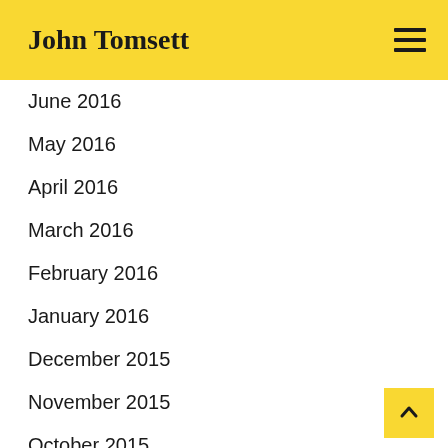John Tomsett
June 2016
May 2016
April 2016
March 2016
February 2016
January 2016
December 2015
November 2015
October 2015
September 2015